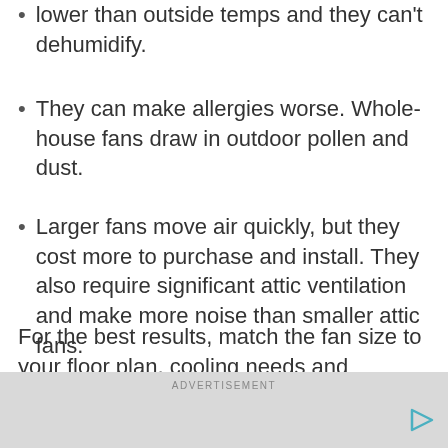lower than outside temps and they can't dehumidify.
They can make allergies worse. Whole-house fans draw in outdoor pollen and dust.
Larger fans move air quickly, but they cost more to purchase and install. They also require significant attic ventilation and make more noise than smaller attic fans.
For the best results, match the fan size to your floor plan, cooling needs and available attic ventilation. Call your local utility and check energystar.gov to see
ADVERTISEMENT